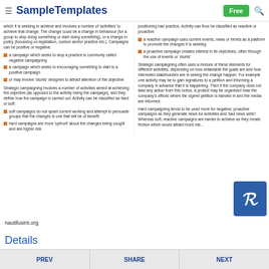SampleTemplates Free
which it is seeking to achieve and involves a number of 'activities' to achieve that change. The change could be a change in behaviour (for a group to stop doing something or start doing something), or a change in policy (focussing on legislation, custom and/or practice etc.). Campaigns can be positive or negative:
a campaign which seeks to stop a practice is commonly called negative campaigning
a campaign which seeks to encouraging something to start is a positive campaign
or may involve 'stunts' designed to attract attention of the objective
Strategic campaigning involves a number of activities aimed at achieving the objective (as opposed to the activity being the campaign), and they define how the campaign is carried out. Activity can be classified as hard or soft:
soft campaigns do not upset current working and attempt to persuade groups that the changes is one that will be of benefit
hard campaigns are more 'upfront' about the changes being sought and are higher risk
positioning bad practice. Activity can thus be classified as reactive or proactive:
a reactive campaign uses current events, news or trends as a platform to promote the changes it is seeking
a proactive campaign creates interest in its objectives, often through the use of events or 'stunts'
Strategic campaigning often uses a mixture of these elements for different activities, depending on how obtainable the goals are and how interested stakeholders are in seeing the change happen. For example one activity may be to gain signatures to a petition and informing a company in advance that it is happening. Then if the company does not take any action from this notice, a protest may be organised near the company's offices where the signed petition is handed in and the media are informed.
Hard campaigning tends to be used more for negative, proactive campaigns as they generate news for activities and 'bad news sells'! Whereas soft, reactive campaigns are harder to achieve as they create friction which would attract more me...
[Figure (logo): Pinterest logo - white P on blue background]
nautilusint.org
Details
PREV  SHARE  NEXT